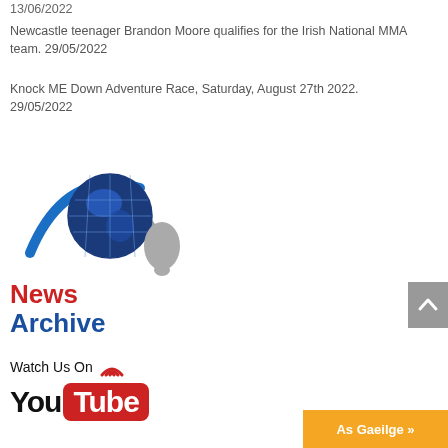13/06/2022
Newcastle teenager Brandon Moore qualifies for the Irish National MMA team. 29/05/2022
Knock ME Down Adventure Race, Saturday, August 27th 2022.  29/05/2022
[Figure (logo): News Archive logo with globe graphic, red 'News' text and blue 'Archive' text]
[Figure (logo): Watch Us On YouTube logo with red WiFi/broadcast icon and YouTube branded text]
[Figure (other): Gray scroll-to-top button with upward chevron arrow]
As Gaeilge »